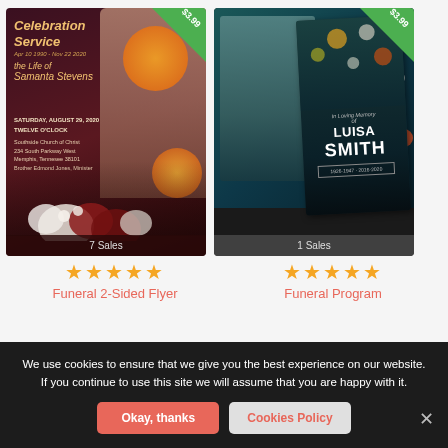[Figure (photo): Funeral 2-Sided Flyer product thumbnail showing dark maroon background with floral design, woman's photo, orange citrus decorations, and '$3.99' price badge. Shows '7 Sales' at bottom.]
[Figure (photo): Funeral Program product thumbnail showing dark teal/black background with woman's photo and text 'In Loving Memory of LUISA SMITH' with '$3.99' price badge. Shows '1 Sales' at bottom.]
★★★★★
Funeral 2-Sided Flyer
★★★★★
Funeral Program
We use cookies to ensure that we give you the best experience on our website. If you continue to use this site we will assume that you are happy with it.
Okay, thanks
Cookies Policy